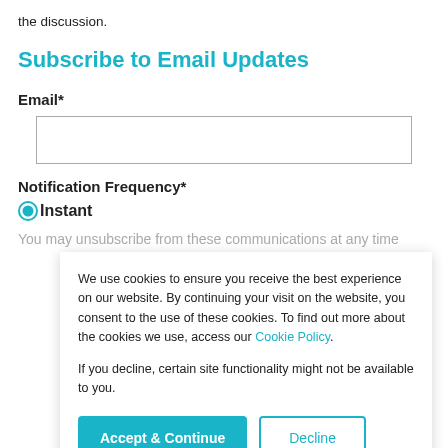the discussion.
Subscribe to Email Updates
Email*
Notification Frequency*
Instant
You may unsubscribe from these communications at any time
We use cookies to ensure you receive the best experience on our website. By continuing your visit on the website, you consent to the use of these cookies. To find out more about the cookies we use, access our Cookie Policy.

If you decline, certain site functionality might not be available to you.
Accept & Continue
Decline